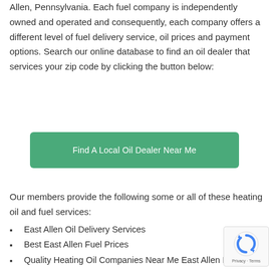Allen, Pennsylvania. Each fuel company is independently owned and operated and consequently, each company offers a different level of fuel delivery service, oil prices and payment options. Search our online database to find an oil dealer that services your zip code by clicking the button below:
[Figure (other): Green button labeled 'Find A Local Oil Dealer Near Me']
Our members provide the following some or all of these heating oil and fuel services:
East Allen Oil Delivery Services
Best East Allen Fuel Prices
Quality Heating Oil Companies Near Me East Allen PA
Diesel Delivery To East Allen PA
Kerosene Delivery To East Allen PA